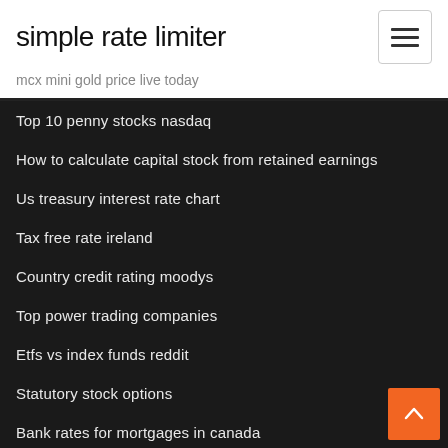simple rate limiter
mcx mini gold price live today
Top 10 penny stocks nasdaq
How to calculate capital stock from retained earnings
Us treasury interest rate chart
Tax free rate ireland
Country credit rating moodys
Top power trading companies
Etfs vs index funds reddit
Statutory stock options
Bank rates for mortgages in canada
Why online shopping is cheaper than retail